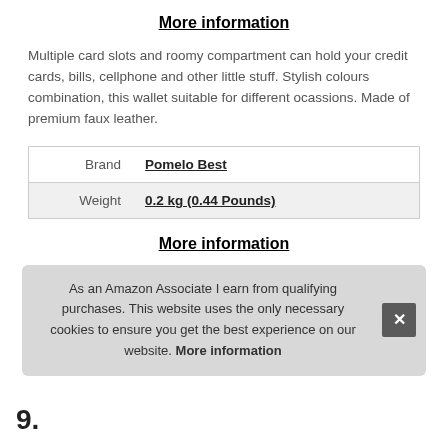More information
Multiple card slots and roomy compartment can hold your credit cards, bills, cellphone and other little stuff. Stylish colours combination, this wallet suitable for different ocassions. Made of premium faux leather.
| Brand | Pomelo Best |
| Weight | 0.2 kg (0.44 Pounds) |
More information
As an Amazon Associate I earn from qualifying purchases. This website uses the only necessary cookies to ensure you get the best experience on our website. More information
9.